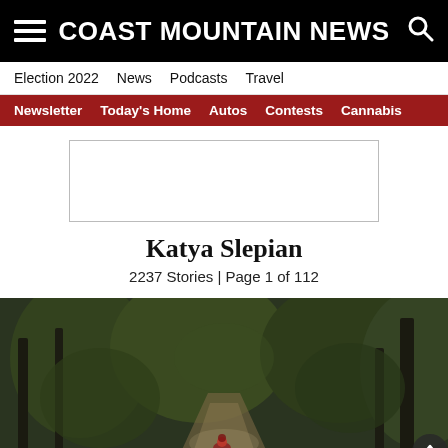COAST MOUNTAIN NEWS
Election 2022  News  Podcasts  Travel
Newsletter  Today's Home  Autos  Contests  Cannabis
[Figure (other): Advertisement placeholder box (empty, outlined rectangle)]
Katya Slepian
2237 Stories | Page 1 of 112
[Figure (photo): Outdoor mountain trail scene with dense forest/trees and a person in red gear on a dirt path; dark atmospheric lighting with muted greens and browns.]